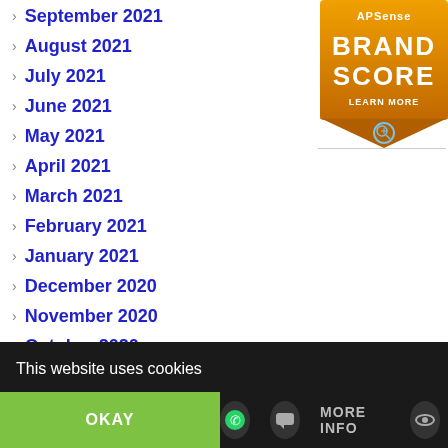September 2021
August 2021
July 2021
June 2021
May 2021
April 2021
March 2021
February 2021
January 2021
December 2020
November 2020
October 2020
September 2020
August 2020
July 2020
[Figure (logo): APSense Brand Score badge - orange shield/ribbon shape with text 'APSense BRAND SCORE LEARN MORE' and a magnifier icon]
This website uses cookies
OKAY
MORE INFO